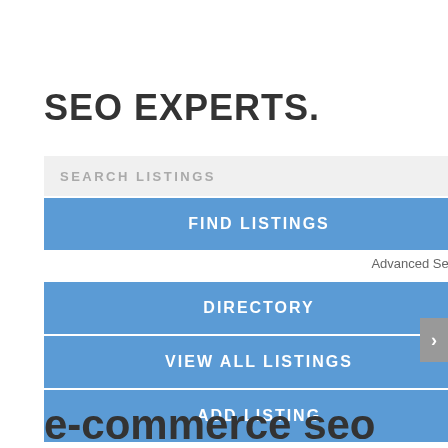SEO EXPERTS.
SEARCH LISTINGS
FIND LISTINGS
Advanced Search
DIRECTORY
VIEW ALL LISTINGS
ADD LISTING
e-commerce seo